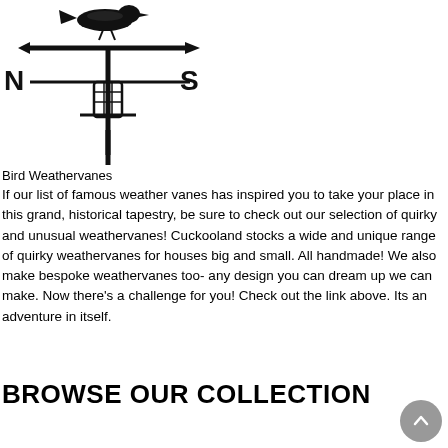[Figure (illustration): A black weathervane silhouette showing a bird on top of an arrow pointing right, with N and S directional indicators on a horizontal bar, mounted on a vertical pole with ornamental cross piece]
Bird Weathervanes
If our list of famous weather vanes has inspired you to take your place in this grand, historical tapestry, be sure to check out our selection of quirky and unusual weathervanes! Cuckooland stocks a wide and unique range of quirky weathervanes for houses big and small. All handmade! We also make bespoke weathervanes too- any design you can dream up we can make. Now there's a challenge for you! Check out the link above. Its an adventure in itself.
BROWSE OUR COLLECTION